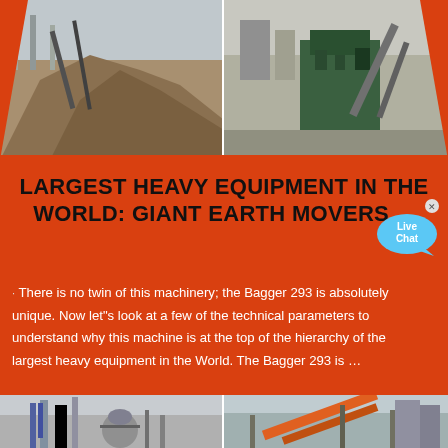[Figure (photo): Two industrial photos at top: left shows a large mound of gravel/aggregate material with conveyor belts and industrial structures; right shows a green heavy industrial crusher/processing equipment with machinery.]
LARGEST HEAVY EQUIPMENT IN THE WORLD: GIANT EARTH MOVERS ...
· There is no twin of this machinery; the Bagger 293 is absolutely unique. Now let"s look at a few of the technical parameters to understand why this machine is at the top of the hierarchy of the largest heavy equipment in the World. The Bagger 293 is ...
[Figure (photo): Two industrial photos at bottom: left shows industrial processing plant with vertical towers and piping; right shows orange conveyor belt system at an industrial facility.]